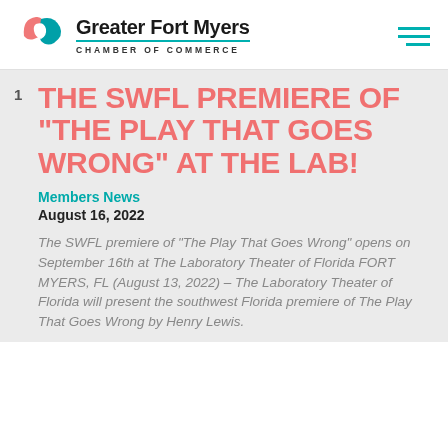[Figure (logo): Greater Fort Myers Chamber of Commerce logo with teal and pink swoosh icon, organization name, and teal underline above 'CHAMBER OF COMMERCE' text]
THE SWFL PREMIERE OF "THE PLAY THAT GOES WRONG" AT THE LAB!
Members News
August 16, 2022
The SWFL premiere of “The Play That Goes Wrong” opens on September 16th at The Laboratory Theater of Florida FORT MYERS, FL (August 13, 2022) –  The Laboratory Theater of Florida will present the southwest Florida premiere of The Play That Goes Wrong by Henry Lewis.